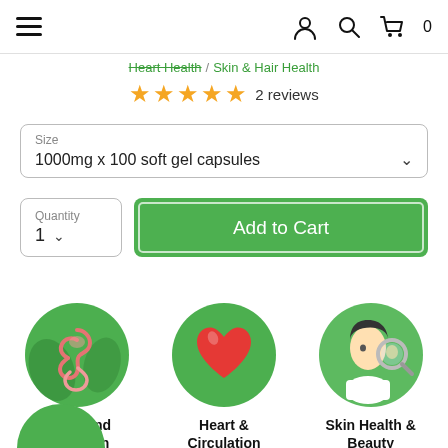≡  [user icon] [search icon] [cart icon] 0
Heart Health / Skin & Hair Health
★★★★★ 2 reviews
Size
1000mg x 100 soft gel capsules
Quantity
1
Add to Cart
[Figure (illustration): Green circle with digestive system / stomach illustration in orange-red]
Detox and Digestion
[Figure (illustration): Green circle with red heart illustration]
Heart & Circulation
[Figure (illustration): Green circle with person holding magnifying glass illustration]
Skin Health & Beauty